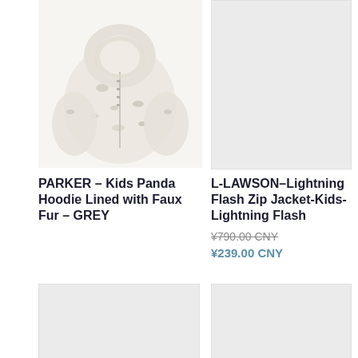CNY ¥
[Figure (photo): Kids panda hoodie lined with faux fur in grey, showing a white/light grey patterned hooded jacket with panda/animal print fabric]
[Figure (photo): Lightning Flash Zip Jacket for kids - placeholder/loading image, light grey background]
PARKER – Kids Panda Hoodie Lined with Faux Fur – GREY
L-LAWSON–Lightning Flash Zip Jacket-Kids-Lightning Flash
¥790.00 CNY
¥239.00 CNY
[Figure (photo): Product image placeholder - light grey background, bottom left product card]
[Figure (photo): Product image placeholder - light grey background, bottom right product card]